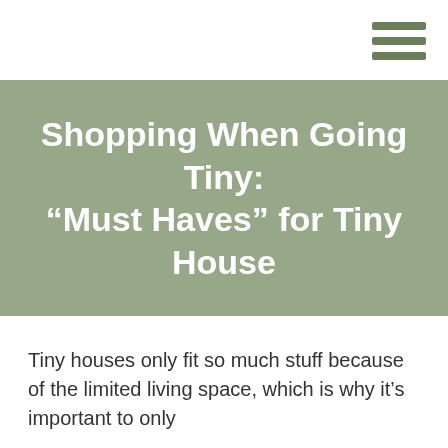[Figure (other): Hamburger menu icon with three horizontal green bars in the top-right corner]
Shopping When Going Tiny: “Must Haves” for Tiny House
Tiny houses only fit so much stuff because of the limited living space, which is why it’s important to only